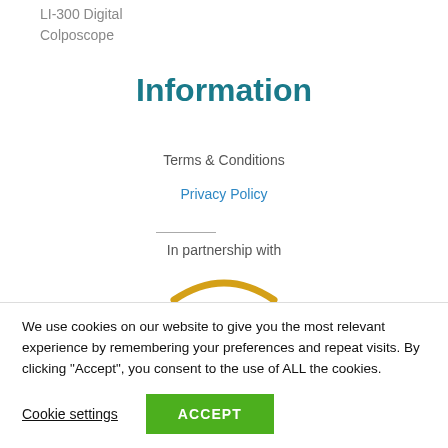LI-300 Digital Colposcope
Information
Terms & Conditions
Privacy Policy
In partnership with
[Figure (illustration): Orange arc/curve shape representing a partner logo at bottom of upper section]
We use cookies on our website to give you the most relevant experience by remembering your preferences and repeat visits. By clicking “Accept”, you consent to the use of ALL the cookies.
Cookie settings
ACCEPT